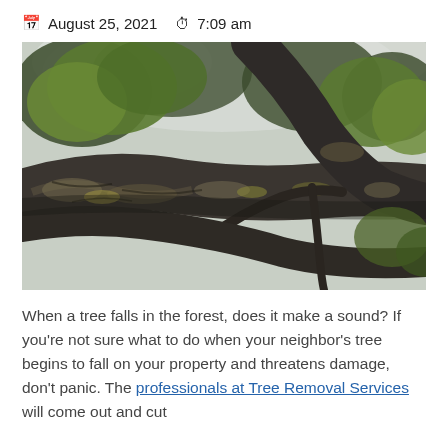August 25, 2021   7:09 am
[Figure (photo): Close-up upward-looking photo of large old tree branches covered in lichen and moss, with green leaves visible against a bright sky]
When a tree falls in the forest, does it make a sound? If you're not sure what to do when your neighbor's tree begins to fall on your property and threatens damage, don't panic. The professionals at Tree Removal Services will come out and cut